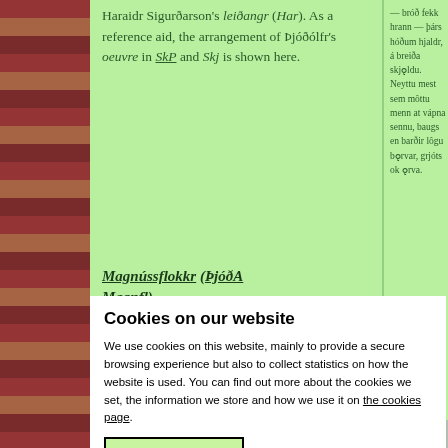Haraidr Sigurðarson's leiðangr (Har). As a reference aid, the arrangement of Þjóðólfr's oeuvre in SkP and Skj is shown here.
Magnússflokkr (ÞjóðA Magnfl)
— bróð fekk hrann — þárs hóðum hjaldr, á breiða skjǫldu. Neyttu mest sem môttu menn at vápna sennu, baugs en barðir lôgu bǫrvar, grjóts ok ǫrva.
| SkP | Skj |
| --- | --- |
| 1-14 | 1-14 |
| 15 Naði jarl at | 19 |
| 16 Ronn lézt | 20 |
| 17 Mg ejot | 21 |
| 18 þe jóðar | 22 |
| eilli | 25 |
Stanzas about Magnús Óláfsson in Danaveldi (ÞjóðA
Cookies on our website
We use cookies on this website, mainly to provide a secure browsing experience but also to collect statistics on how the website is used. You can find out more about the cookies we set, the information we store and how we use it on the cookies page.
Continue